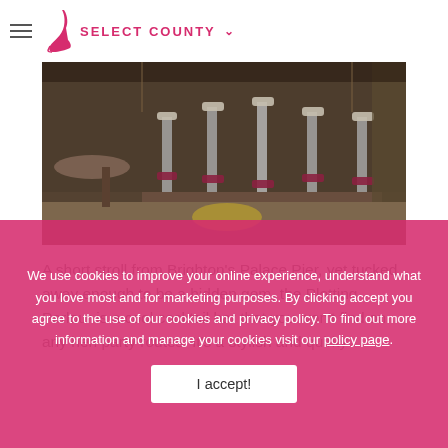SELECT COUNTY
[Figure (photo): Interior of the Plotting Parlour cocktail bar showing vintage bar stools with wooden frames and red seats, round tables, and atmospheric lighting]
A short stroll from Brighton's Palace Pier, yet tucked away enough to be a hidden gem, the Plotting Parlour is a cool cocktail bar that you won't find on any hen party routes. It's a stylish and quirky hangout with frescoed ceiling, vintage cinema seats and a conveniently placed bar to boot. To further While Plotting Parlour is a great place to while away Against the Machine. Book – Wants be sure of a spot – there's a civilised table service only policy Bloomsbury Bespoke: available for hire from
We use cookies to improve your online experience, understand what you love most and for marketing purposes. By clicking accept you agree to the use of our cookies and privacy policy. To find out more information and manage your cookies visit our policy page.
I accept!